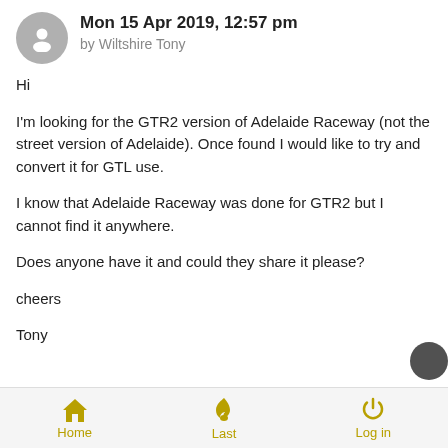Mon 15 Apr 2019, 12:57 pm by Wiltshire Tony
Hi
I'm looking for the GTR2 version of Adelaide Raceway (not the street version of Adelaide). Once found I would like to try and convert it for GTL use.
I know that Adelaide Raceway was done for GTR2 but I cannot find it anywhere.
Does anyone have it and could they share it please?
cheers
Tony
Home  Last  Log in